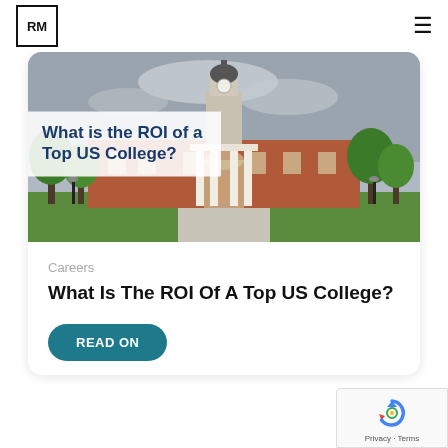RM
[Figure (photo): Photograph of a large red-brick college building with white columns and a clock tower, surrounded by green trees under an overcast sky. Overlaid text reads: 'What is the ROI of a Top US College?']
Careers
What Is The ROI Of A Top US College?
READ ON